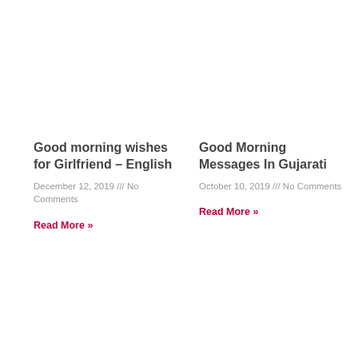Good morning wishes for Girlfriend – English
December 12, 2019 /// No Comments
Read More »
Good Morning Messages In Gujarati
October 10, 2019 /// No Comments
Read More »